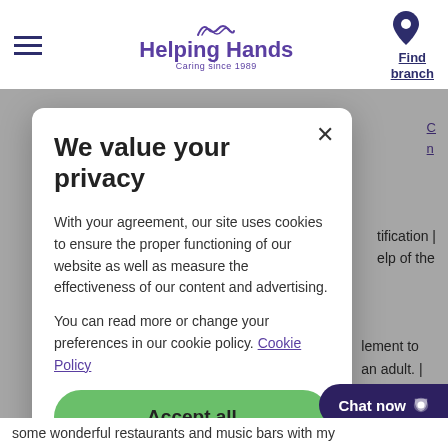Helping Hands — Caring since 1989
We value your privacy
With your agreement, our site uses cookies to ensure the proper functioning of our website as well as measure the effectiveness of our content and advertising.
You can read more or change your preferences in our cookie policy. Cookie Policy
Accept all
MANAGE SETTINGS
Chat now
some wonderful restaurants and music bars with my